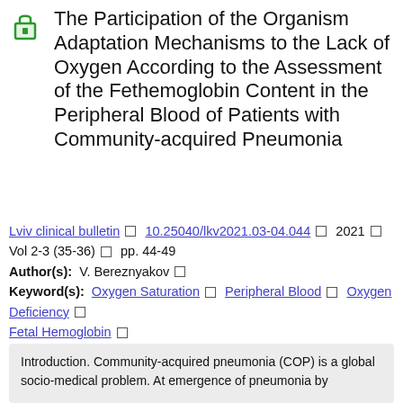The Participation of the Organism Adaptation Mechanisms to the Lack of Oxygen According to the Assessment of the Fethemoglobin Content in the Peripheral Blood of Patients with Community-acquired Pneumonia
Lviv clinical bulletin □ 10.25040/lkv2021.03-04.044 □ 2021 □ Vol 2-3 (35-36) □ pp. 44-49
Author(s): V. Bereznyakov □
Keyword(s): Oxygen Saturation □ Peripheral Blood □ Oxygen Deficiency □ Fetal Hemoglobin □ Community Acquired Pneumonia □ Control Group □ External Respiration □ Healthy Individuals □ Adaptation Mechanisms □ Oxygen Transport System
Introduction. Community-acquired pneumonia (COP) is a global socio-medical problem. At emergence of pneumonia by